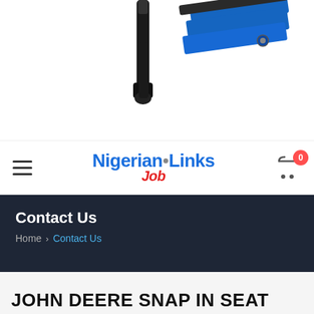[Figure (photo): Partial product photo showing a black cable/connector and blue plastic part on white background, cropped at top]
NigerianJobLinks — navigation bar with hamburger menu and cart showing 0 items
Contact Us
Home > Contact Us
JOHN DEERE SNAP IN SEAT